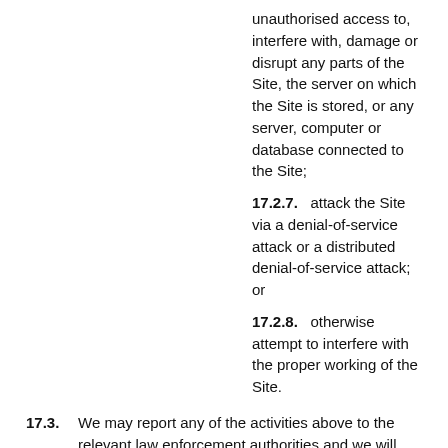unauthorised access to, interfere with, damage or disrupt any parts of the Site, the server on which the Site is stored, or any server, computer or database connected to the Site;
17.2.7. attack the Site via a denial-of-service attack or a distributed denial-of-service attack; or
17.2.8. otherwise attempt to interfere with the proper working of the Site.
17.3. We may report any of the activities above to the relevant law enforcement authorities and we will cooperate with those authorities by disclosing your identity to them. In the event of such a breach, your right to use our Site will cease immediately.